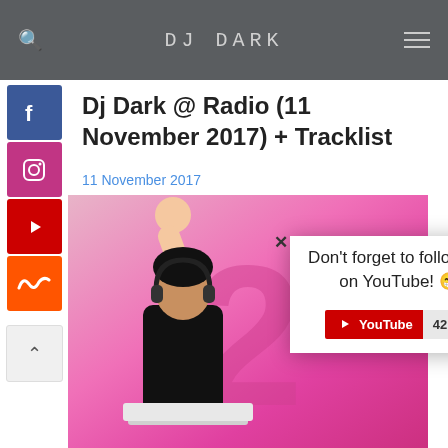DJ DARK
Dj Dark @ Radio (11 November 2017) + Tracklist
11 November 2017
[Figure (photo): DJ Dark performing at radio studio, raising arm, wearing black outfit, pink background with large letter]
Don't forget to follow me on YouTube! 😁
YouTube 421K